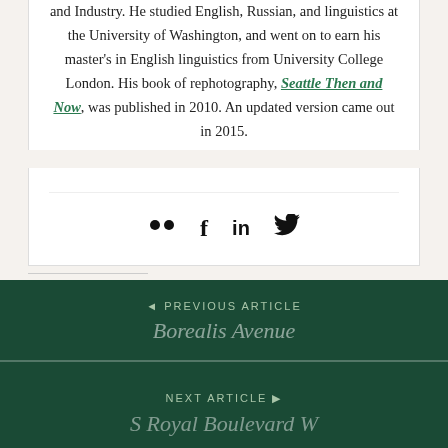and Industry. He studied English, Russian, and linguistics at the University of Washington, and went on to earn his master's in English linguistics from University College London. His book of rephotography, Seattle Then and Now, was published in 2010. An updated version came out in 2015.
[Figure (other): Social sharing icons: Flickr, Facebook, LinkedIn, Twitter]
Share this:
[Figure (other): Share buttons: Twitter (blue circle), Facebook (blue circle), Reddit (light blue circle), Pinterest (red circle), Pocket (red circle), Print (grey circle), Email (grey circle), More button]
Posted in Street Names · Tagged Avenue, Fremont, Landmark, Name Changes
◄ PREVIOUS ARTICLE
Borealis Avenue

NEXT ARTICLE ►
S Royal Boulevard W